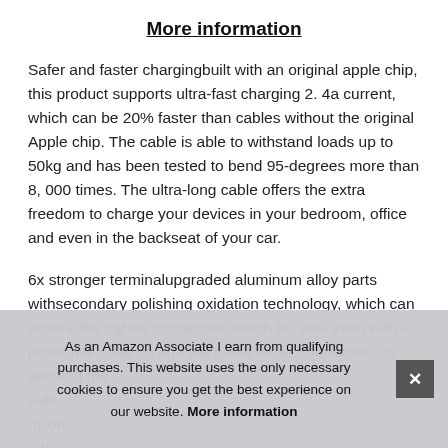More information
Safer and faster chargingbuilt with an original apple chip, this product supports ultra-fast charging 2. 4a current, which can be 20% faster than cables without the original Apple chip. The cable is able to withstand loads up to 50kg and has been tested to bend 95-degrees more than 8, 000 times. The ultra-long cable offers the extra freedom to charge your devices in your bedroom, office and even in the backseat of your car.
6x stronger terminalupgraded aluminum alloy parts withsecondary polishing oxidation technology, which can ensure the tighter connection which fits well even with a protective case on and will never loose connection. In addition the safe nylon a hi wrapped in a double-braided nylon sheath, resulting in a supple
As an Amazon Associate I earn from qualifying purchases. This website uses the only necessary cookies to ensure you get the best experience on our website. More information